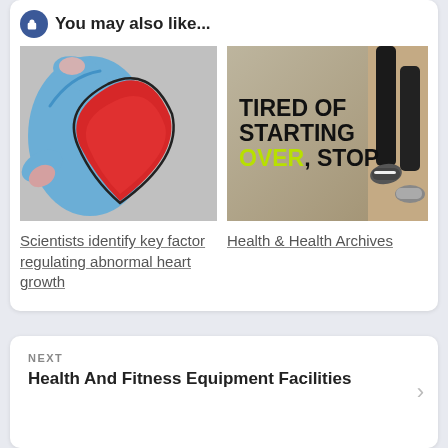You may also like...
[Figure (illustration): Cartoon illustration of a human heart with blue and red chambers]
[Figure (photo): Text image reading TIRED OF STARTING OVER, STOP with a person's legs running in background]
Scientists identify key factor regulating abnormal heart growth
Health & Health Archives
NEXT
Health And Fitness Equipment Facilities